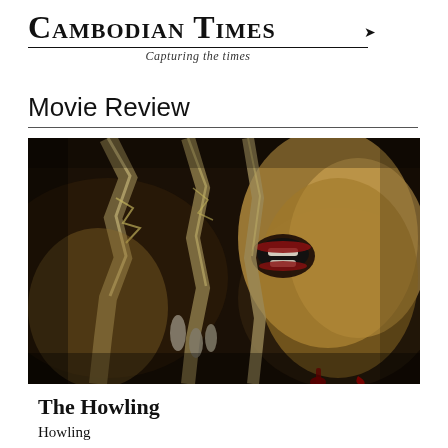Cambodian Times
Capturing the times
Movie Review
[Figure (photo): Movie poster for 'The Howling' — a horror image showing clawed fingers tearing through a metallic or golden surface, revealing a screaming face behind it, against a dark dramatic background.]
The Howling
Howling